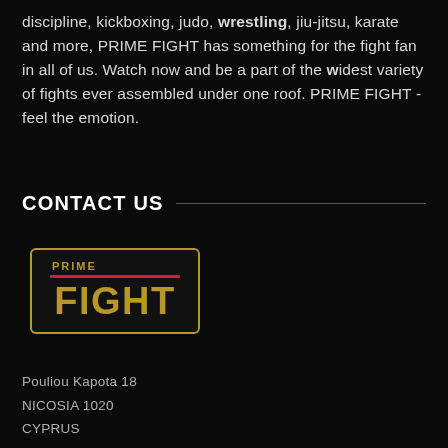discipline, kickboxing, judo, wrestling, jiu-jitsu, karate and more, PRIME FIGHT has something for the fight fan in all of us. Watch now and be a part of the widest variety of fights ever assembled under one roof. PRIME FIGHT - feel the emotion.
CONTACT US
[Figure (logo): PRIME FIGHT logo: gold bordered rectangle with red stripe, PRIME text in gold above red line, FIGHT in large gold bold letters below]
Pouliou Kapota 18
NICOSIA 1020
CYPRUS